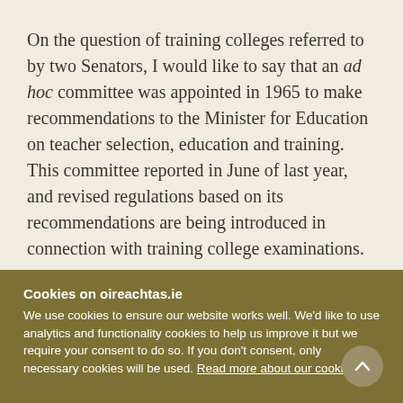On the question of training colleges referred to by two Senators, I would like to say that an ad hoc committee was appointed in 1965 to make recommendations to the Minister for Education on teacher selection, education and training. This committee reported in June of last year, and revised regulations based on its recommendations are being introduced in connection with training college examinations.
Cookies on oireachtas.ie
We use cookies to ensure our website works well. We'd like to use analytics and functionality cookies to help us improve it but we require your consent to do so. If you don't consent, only necessary cookies will be used. Read more about our cookies
Manage cookies
Accept all cookies